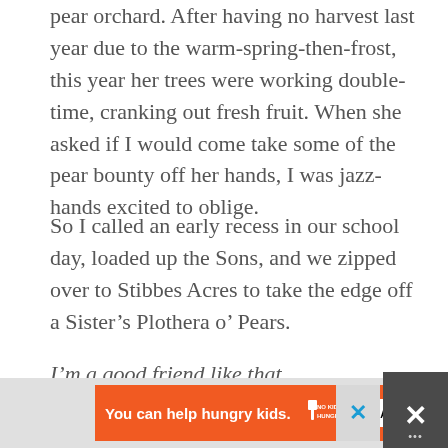pear orchard. After having no harvest last year due to the warm-spring-then-frost, this year her trees were working double-time, cranking out fresh fruit. When she asked if I would come take some of the pear bounty off her hands, I was jazz-hands excited to oblige.
So I called an early recess in our school day, loaded up the Sons, and we zipped over to Stibbes Acres to take the edge off a Sister’s Plothera o’ Pears.
I’m a good friend like that.
The Sons and I set to picking, and in no time flat, we had gallons upon gallons of juicy pears. I can’t be sure, but I’m fairly certain that we ate at least one of those gallons on the drive home. Those suckers were so good!
[Figure (infographic): Orange advertisement bar at bottom: 'You can help hungry kids.' with No Kid Hungry logo and LEARN HOW button. Close buttons visible on right.]